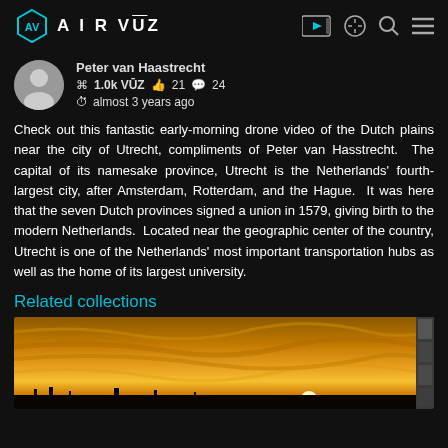AIRVŪZ
Peter van Haastrecht
⌘ 1.0k VŪZ  👍 21  💬 24
⏱ almost 3 years ago
Check out this fantastic early-morning drone video of the Dutch plains near the city of Utrecht, compliments of Peter van Hasstrecht. The capital of its namesake province, Utrecht is the Netherlands' fourth-largest city, after Amsterdam, Rotterdam, and the Hague. It was here that the seven Dutch provinces signed a union in 1579, giving birth to the modern Netherlands. Located near the geographic center of the country, Utrecht is one of the Netherlands' most important transportation hubs as well as the home of its largest university.
Related collections
[Figure (photo): Aerial drone photo showing a golden sunrise over Dutch plains near Utrecht, with dramatic cloud formations and silhouetted trees/buildings on the horizon.]